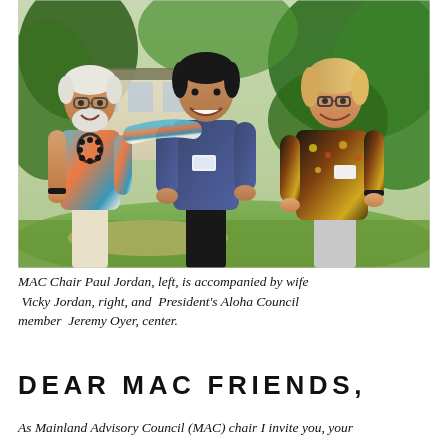[Figure (photo): Three people posing together outdoors in front of tropical foliage and a building. On the left is an older man with white beard wearing a colorful Hawaiian shirt and a lei of black beads. In the center is a young Asian man wearing a dark patterned shirt with a name badge. On the right is an older woman with glasses and short blonde hair wearing a dark floral top. All three are smiling.]
MAC Chair Paul Jordan, left, is accompanied by wife Vicky Jordan, right, and  President's Aloha Council member  Jeremy Oyer, center.
DEAR MAC FRIENDS,
As Mainland Advisory Council (MAC) chair I invite you, your